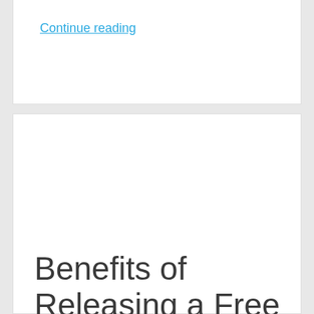Continue reading
Benefits of Releasing a Free Business App
[Figure (screenshot): Screenshot of a rainfall app showing December 2013 data with 44mm on 11/12/2013, alongside an image of a yellow and blue logo/object on a light background]